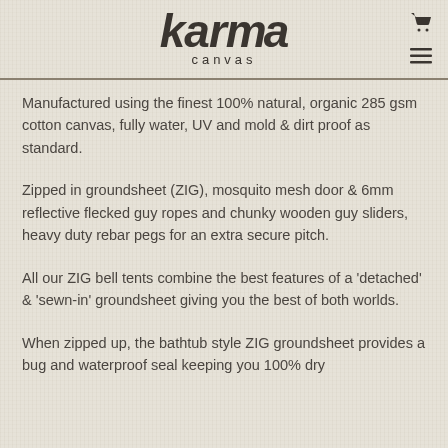karma canvas
Manufactured using the finest 100% natural, organic 285 gsm cotton canvas, fully water, UV and mold & dirt proof as standard.
Zipped in groundsheet (ZIG), mosquito mesh door & 6mm reflective flecked guy ropes and chunky wooden guy sliders, heavy duty rebar pegs for an extra secure pitch.
All our ZIG bell tents combine the best features of a 'detached' & 'sewn-in' groundsheet giving you the best of both worlds.
When zipped up, the bathtub style ZIG groundsheet provides a bug and waterproof seal keeping you 100% dry